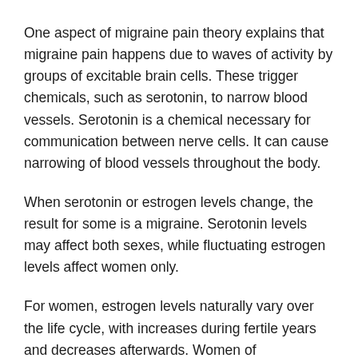One aspect of migraine pain theory explains that migraine pain happens due to waves of activity by groups of excitable brain cells. These trigger chemicals, such as serotonin, to narrow blood vessels. Serotonin is a chemical necessary for communication between nerve cells. It can cause narrowing of blood vessels throughout the body.
When serotonin or estrogen levels change, the result for some is a migraine. Serotonin levels may affect both sexes, while fluctuating estrogen levels affect women only.
For women, estrogen levels naturally vary over the life cycle, with increases during fertile years and decreases afterwards. Women of childbearing age also experience monthly changes in estrogen levels. Migraines in women are often associated with these fluctuating hormone levels and may